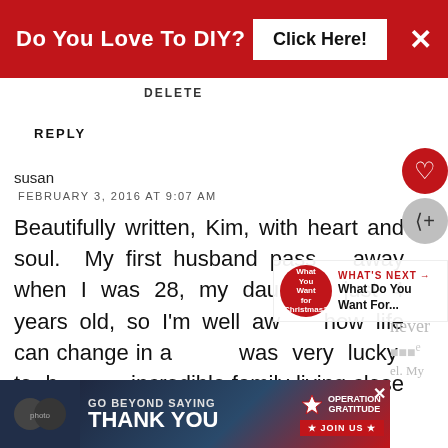[Figure (screenshot): Red advertisement banner at top reading 'Do You Love To DIY?' with a 'Click Here!' button and close X]
DELETE
REPLY
susan
FEBRUARY 3, 2016 AT 9:07 AM
Beautifully written, Kim, with heart and soul. My first husband passed away when I was 28, my daughter just 4 years old, so I'm well aware how life can change in a day. I was very lucky to have an incredible family living close by and never
[Figure (screenshot): Bottom advertisement banner for Operation Gratitude: 'Go Beyond Saying Thank You' with Join Us button]